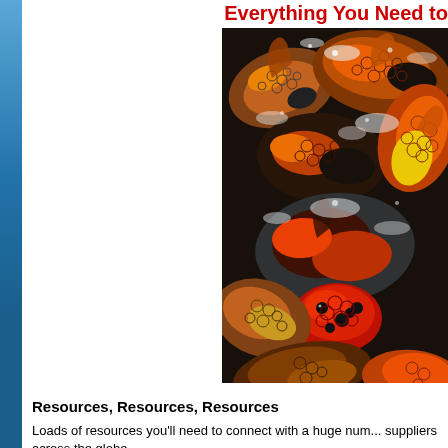Everything You Need to
[Figure (photo): Close-up photo of a large group of colorful koi fish with orange, black, and white patterns crowded together in water]
Resources, Resources, Resources
Loads of resources you'll need to connect with a huge num... suppliers across the globe.
Find everything you need to get started rasing Koi includin... feeders...you name it!